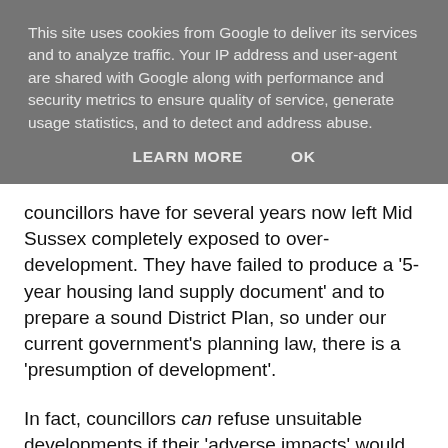This site uses cookies from Google to deliver its services and to analyze traffic. Your IP address and user-agent are shared with Google along with performance and security metrics to ensure quality of service, generate usage statistics, and to detect and address abuse.
LEARN MORE   OK
councillors have for several years now left Mid Sussex completely exposed to over-development. They have failed to produce a '5-year housing land supply document' and to prepare a sound District Plan, so under our current government's planning law, there is a 'presumption of development'.
In fact, councillors can refuse unsuitable developments if their 'adverse impacts' would 'significantly and demonstrably outweigh the benefits'. The adverse impacts of building a large estate on the other side of the railway from the village's schools, shops and main park include the